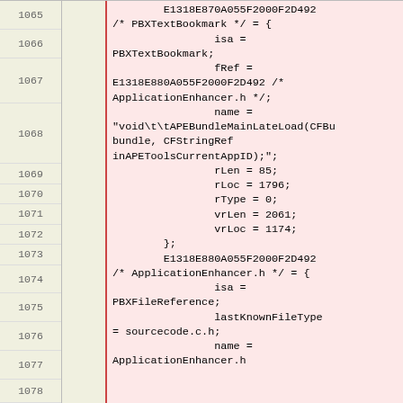| Line |  | Code |
| --- | --- | --- |
| 1065 |  | E1318E870A055F2000F2D492
/* PBXTextBookmark */ = { |
| 1066 |  |         isa =
PBXTextBookmark; |
| 1067 |  |                 fRef =
E1318E880A055F2000F2D492 /*
ApplicationEnhancer.h */; |
| 1068 |  |                 name =
"void\t\tAPEBundleMainLateLoad(CFBu
bundle, CFStringRef
inAPEToolsCurrentAppID);" |
| 1069 |  |                 rLen = 85; |
| 1070 |  |                 rLoc = 1796; |
| 1071 |  |                 rType = 0; |
| 1072 |  |                 vrLen = 2061; |
| 1073 |  |                 vrLoc = 1174; |
| 1074 |  |         }; |
| 1075 |  |         E1318E880A055F2000F2D492
/* ApplicationEnhancer.h */ = { |
| 1076 |  |                 isa =
PBXFileReference; |
| 1077 |  |                 lastKnownFileType
= sourcecode.c.h; |
| 1078 |  |                 name =
ApplicationEnhancer.h |